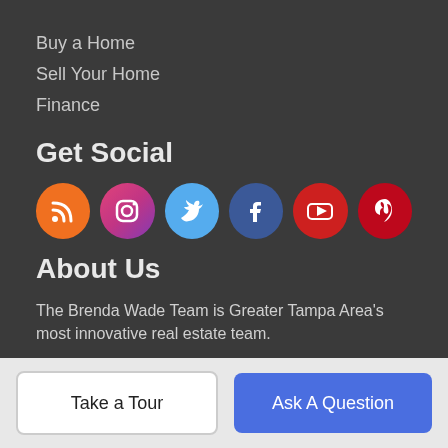Buy a Home
Sell Your Home
Finance
Get Social
[Figure (infographic): Six social media icon circles: RSS (orange), Instagram (pink/red gradient), Twitter (light blue), Facebook (dark blue), YouTube (red), Pinterest (red)]
About Us
The Brenda Wade Team is Greater Tampa Area's most innovative real estate team.
Signature Realty Associates
1709 Bloomingdale Ave, Valrico, FL 33596
📞 813-655-5333
Take a Tour
Ask A Question